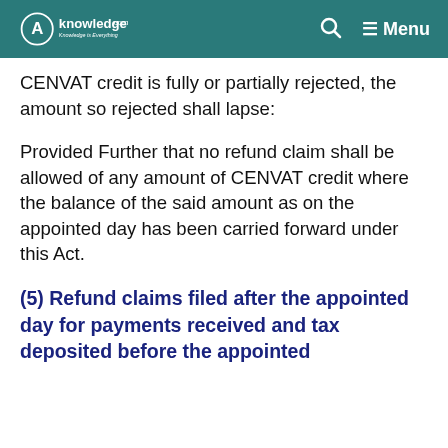CA Knowledge.com — Menu
CENVAT credit is fully or partially rejected, the amount so rejected shall lapse:
Provided Further that no refund claim shall be allowed of any amount of CENVAT credit where the balance of the said amount as on the appointed day has been carried forward under this Act.
(5) Refund claims filed after the appointed day for payments received and tax deposited before the appointed